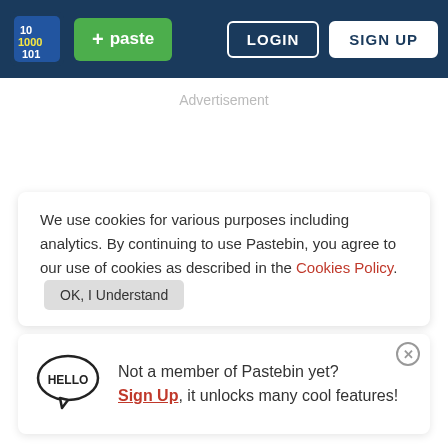[Figure (screenshot): Pastebin website header with logo, green + paste button, LOGIN and SIGN UP buttons on dark navy background]
Advertisement
We use cookies for various purposes including analytics. By continuing to use Pastebin, you agree to our use of cookies as described in the Cookies Policy. OK, I Understand
Not a member of Pastebin yet? Sign Up, it unlocks many cool features!
Untitled
WOWONLINE   DEC 11TH, 2021   743   NEVER
Not a member of Pastebin yet? Sign Up, it unlocks many cool features!